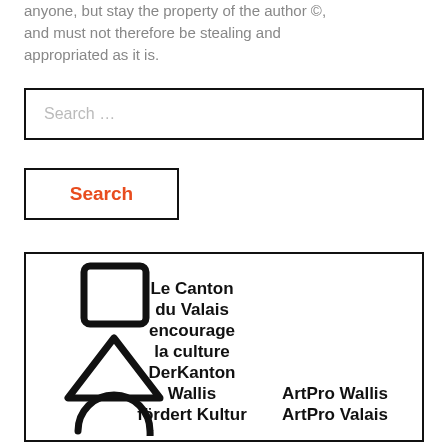anyone, but stay the property of the author ©, and must not therefore be stealing and appropriated as it is.
[Figure (other): Search input field with placeholder text 'Search ...']
[Figure (other): Search button with red 'Search' label]
[Figure (logo): Canton du Valais / Der Kanton Wallis culture logo with geometric symbols (square, triangle, circle) and text: Le Canton du Valais encourage la culture Der Kanton Wallis fördert Kultur | ArtPro Wallis ArtPro Valais]